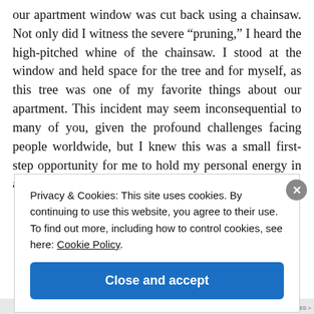our apartment window was cut back using a chainsaw. Not only did I witness the severe “pruning,” I heard the high-pitched whine of the chainsaw. I stood at the window and held space for the tree and for myself, as this tree was one of my favorite things about our apartment. This incident may seem inconsequential to many of you, given the profound challenges facing people worldwide, but I knew this was a small first-step opportunity for me to hold my personal energy in a way
Privacy & Cookies: This site uses cookies. By continuing to use this website, you agree to their use.
To find out more, including how to control cookies, see here: Cookie Policy
Close and accept